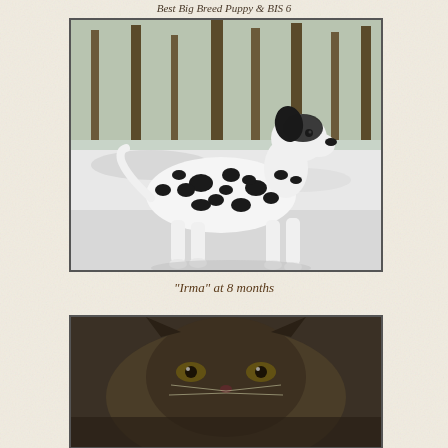Best Big Breed Puppy & BIS 6
[Figure (photo): A Dalmatian dog with black spots standing in a snowy outdoor setting with trees in the background. The dog is facing right in a show stance.]
"Irma" at 8 months
[Figure (photo): A close-up photo of what appears to be a cat or small animal, partially visible at the bottom of the page.]